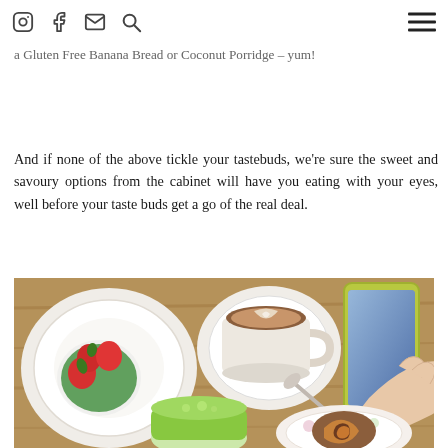[Navigation icons: Instagram, Facebook, Email, Search] [Hamburger menu]
surprises (just the way we like it), with their drool-worthy menu featuring Soy Tofu Scramble, Good Old Eggs and Bacon, Soft Boiled Eggs with Soldiers and a Gluten Free Banana Bread or Coconut Porridge – yum!
And if none of the above tickle your tastebuds, we're sure the sweet and savoury options from the cabinet will have you eating with your eyes, well before your taste buds get a go of the real deal.
[Figure (photo): Overhead view of a cafe table with a cappuccino in a white cup with saucer, a green smoothie, a fruit bowl with strawberries and citrus, a floral plate with a pastry, and a hand holding a smartphone.]